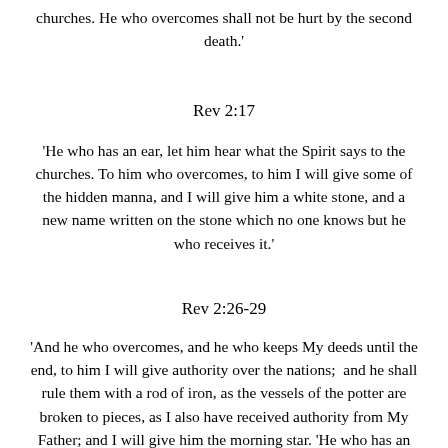churches. He who overcomes shall not be hurt by the second death.'
Rev 2:17
'He who has an ear, let him hear what the Spirit says to the churches. To him who overcomes, to him I will give some of the hidden manna, and I will give him a white stone, and a new name written on the stone which no one knows but he who receives it.'
Rev 2:26-29
'And he who overcomes, and he who keeps My deeds until the end, to him I will give authority over the nations;  and he shall rule them with a rod of iron, as the vessels of the potter are broken to pieces, as I also have received authority from My Father; and I will give him the morning star. 'He who has an ear, let him hear what the Spirit says to the churches.'